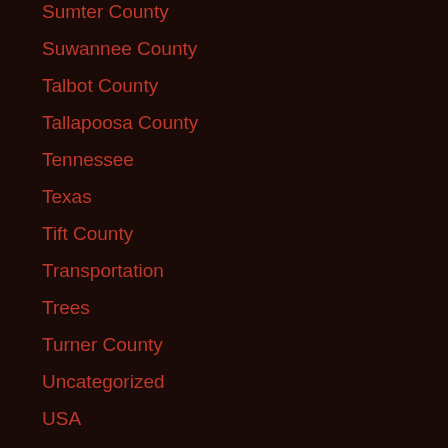Sumter County
Suwannee County
Talbot County
Tallapoosa County
Tennessee
Texas
Tift County
Transportation
Trees
Turner County
Uncategorized
USA
USACE
Virginia
Waldo County